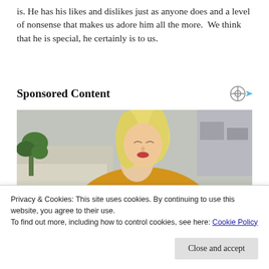is. He has his likes and dislikes just as anyone does and a level of nonsense that makes us adore him all the more.  We think that he is special, he certainly is to us.
Sponsored Content
[Figure (photo): A blonde woman in a yellow sweater looking down, writing or reading something, with a plant and couch visible in the background. At the bottom a dark bar with text 'How Stress Affects Psoriasis'.]
Privacy & Cookies: This site uses cookies. By continuing to use this website, you agree to their use.
To find out more, including how to control cookies, see here: Cookie Policy
Close and accept